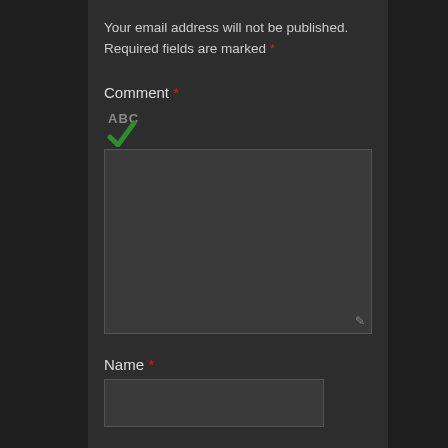Your email address will not be published. Required fields are marked *
Comment *
[Figure (other): Spell-check icon showing 'ABC' text with a green checkmark below it, indicating spell-check is enabled for the comment textarea]
Name *
Email *
Website